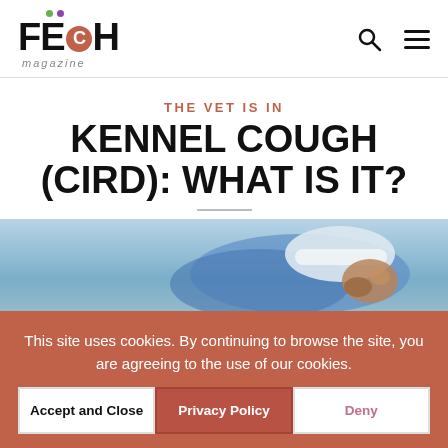FETCH magazine
THE VET IS IN
KENNEL COUGH (CIRD): WHAT IS IT?
[Figure (photo): Photo of a dog partially visible, appears to be wearing or covered with a light blue cloth and white hat]
This site uses cookies. By continuing to browse the site, you are agreeing to the use of our cookies.
Accept and Close
Privacy Policy
Deny